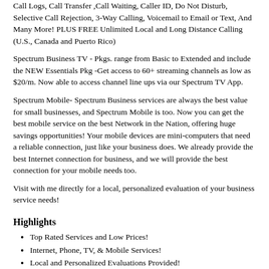Call Logs, Call Transfer ,Call Waiting, Caller ID, Do Not Disturb, Selective Call Rejection, 3-Way Calling, Voicemail to Email or Text, And Many More! PLUS FREE Unlimited Local and Long Distance Calling (U.S., Canada and Puerto Rico)
Spectrum Business TV - Pkgs. range from Basic to Extended and include the NEW Essentials Pkg -Get access to 60+ streaming channels as low as $20/m. Now able to access channel line ups via our Spectrum TV App.
Spectrum Mobile- Spectrum Business services are always the best value for small businesses, and Spectrum Mobile is too. Now you can get the best mobile service on the best Network in the Nation, offering huge savings opportunities! Your mobile devices are mini-computers that need a reliable connection, just like your business does. We already provide the best Internet connection for business, and we will provide the best connection for your mobile needs too.
Visit with me directly for a local, personalized evaluation of your business service needs!
Highlights
Top Rated Services and Low Prices!
Internet, Phone, TV, & Mobile Services!
Local and Personalized Evaluations Provided!